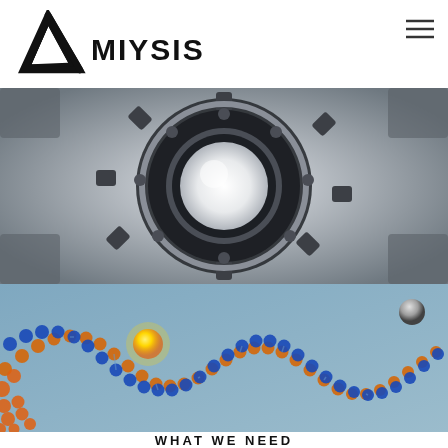[Figure (logo): Miysis logo: triangular arrow shape with the text MIYSIS in black]
[Figure (photo): Close-up photo of a mechanical circular component, resembling a turbine or industrial wheel, in metallic grey and black tones]
[Figure (photo): Illustration of a DNA double helix strand with blue and orange/gold molecular beads, set against a light blue background, with a yellow glowing sphere on the left]
WHAT WE NEED